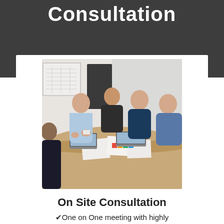Consultation
[Figure (photo): Group of five people sitting and standing around a wooden table in an office setting, looking at laptops, documents, and materials during a consultation meeting.]
On Site Consultation
One on One meeting with highly experienced Sales Consultant